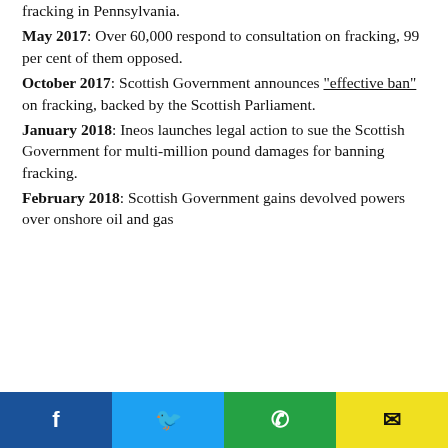fracking in Pennsylvania.
May 2017: Over 60,000 respond to consultation on fracking, 99 per cent of them opposed.
October 2017: Scottish Government announces "effective ban" on fracking, backed by the Scottish Parliament.
January 2018: Ineos launches legal action to sue the Scottish Government for multi-million pound damages for banning fracking.
February 2018: Scottish Government gains devolved powers over onshore oil and gas